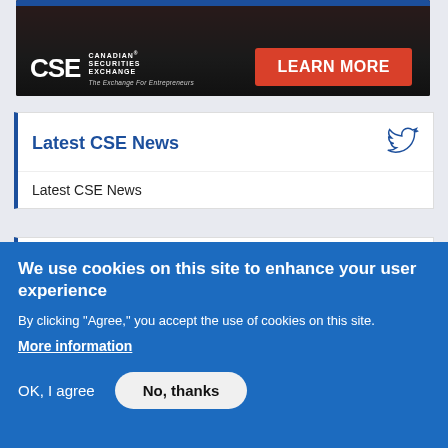[Figure (screenshot): CSE Canadian Securities Exchange advertisement banner with dark background, CSE logo on left, and red 'LEARN MORE' button on right]
Latest CSE News
Latest CSE News
Upcoming Events
We use cookies on this site to enhance your user experience
By clicking "Agree," you accept the use of cookies on this site.
More information
OK, I agree
No, thanks